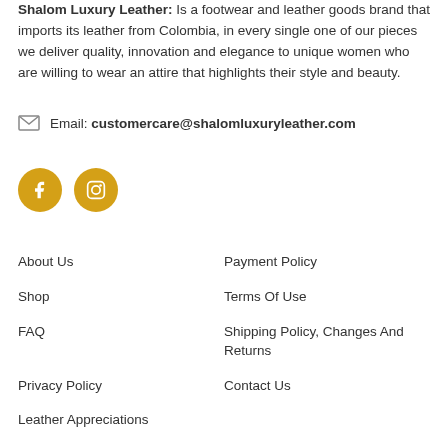Shalom Luxury Leather: Is a footwear and leather goods brand that imports its leather from Colombia, in every single one of our pieces we deliver quality, innovation and elegance to unique women who are willing to wear an attire that highlights their style and beauty.
Email: customercare@shalomluxuryleather.com
[Figure (other): Two golden circular social media icons: Facebook (f) and Instagram (camera outline)]
About Us
Payment Policy
Shop
Terms Of Use
FAQ
Shipping Policy, Changes And Returns
Privacy Policy
Contact Us
Leather Appreciations
Shipping Terms